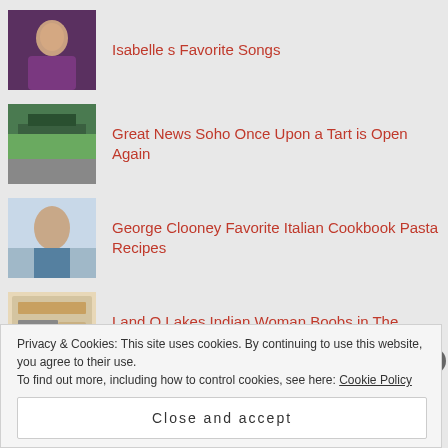Isabelle s Favorite Songs
Great News Soho Once Upon a Tart is Open Again
George Clooney Favorite Italian Cookbook Pasta Recipes
Land O Lakes Indian Woman Boobs in The Butter Box Trick
Brett Kavanaugh I Like BEER !
Privacy & Cookies: This site uses cookies. By continuing to use this website, you agree to their use. To find out more, including how to control cookies, see here: Cookie Policy
Close and accept